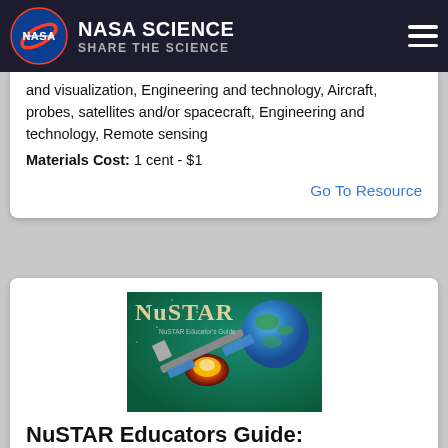NASA SCIENCE | SHARE THE SCIENCE
Earth and space science, Life, Ocean and water, Engineering and technology, Image processing and visualization, Engineering and technology, Aircraft, probes, satellites and/or spacecraft, Engineering and technology, Remote sensing
Materials Cost: 1 cent - $1
Go To Resource
[Figure (illustration): NuSTAR Educator's Guide book cover showing spacecraft with Earth in background and text 'NuSTAR' in large letters]
NuSTAR Educators Guide: